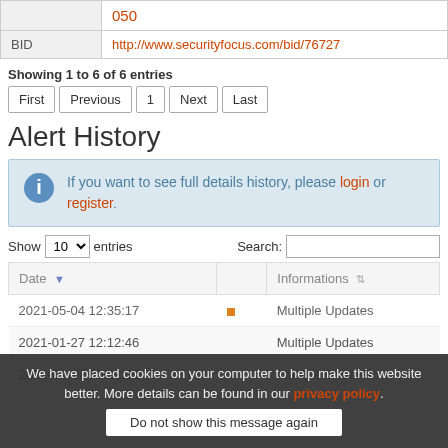|  |  |
| --- | --- |
|  | 050 |
| BID | http://www.securityfocus.com/bid/76727 |
Showing 1 to 6 of 6 entries
First  Previous  1  Next  Last
Alert History
If you want to see full details history, please login or register.
Show 10 entries   Search:
| Date |  | Informations |
| --- | --- | --- |
| 2021-05-04 12:35:17 |  | Multiple Updates |
| 2021-01-27 12:12:46 |  | Multiple Updates |
| 2021-01-27 01:12:20 |  | Multiple Updates |
We have placed cookies on your computer to help make this website better. More details can be found in our privacy policy.
Do not show this message again